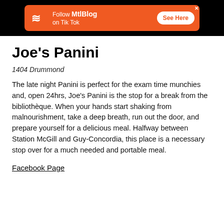[Figure (other): Orange MtlBlog advertisement banner on black background: 'Follow MtlBlog on Tik Tok' with See Here button]
Joe’s Panini
1404 Drummond
The late night Panini is perfect for the exam time munchies and, open 24hrs, Joe’s Panini is the stop for a break from the bibliothèque. When your hands start shaking from malnourishment, take a deep breath, run out the door, and prepare yourself for a delicious meal. Halfway between Station McGill and Guy-Concordia, this place is a necessary stop over for a much needed and portable meal.
Facebook Page